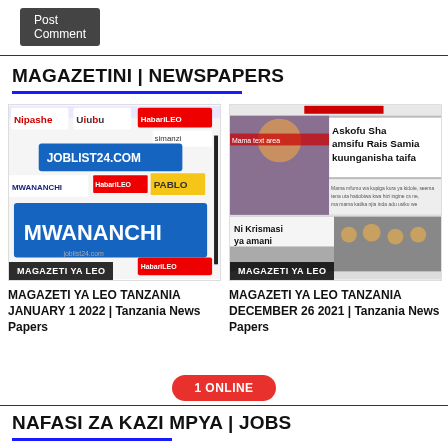Post Comment
MAGAZETINI | NEWSPAPERS
[Figure (photo): Thumbnail image of MAGAZETI YA LEO Tanzania newspaper dated January 1 2022 with JOBLIST24.COM and MWANANCHI logos visible. Badge text: MAGAZETI YA LEO]
MAGAZETI YA LEO TANZANIA JANUARY 1 2022 | Tanzania News Papers
[Figure (photo): Thumbnail image of MAGAZETI YA LEO Tanzania newspaper dated December 26 2021 with headline Askofu Sha amsifu Rais Samia kuunganisha taifa and Ni Krismasi ya amani. Badge text: MAGAZETI YA LEO]
MAGAZETI YA LEO TANZANIA DECEMBER 26 2021 | Tanzania News Papers
1 ONLINE
NAFASI ZA KAZI MPYA | JOBS